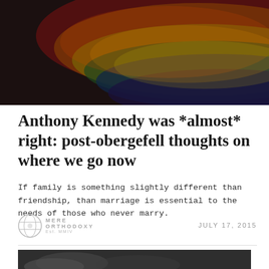[Figure (photo): Rainbow pride flag close-up photo, colorful stripes of red, orange, yellow, green, blue, with dark overlay]
Anthony Kennedy was *almost* right: post-obergefell thoughts on where we go now
If family is something slightly different than friendship, than marriage is essential to the needs of those who never marry.
[Figure (logo): Mere Orthodoxy logo with globe icon]
July 17, 2015
[Figure (photo): Black and white photo of hands clasped together]